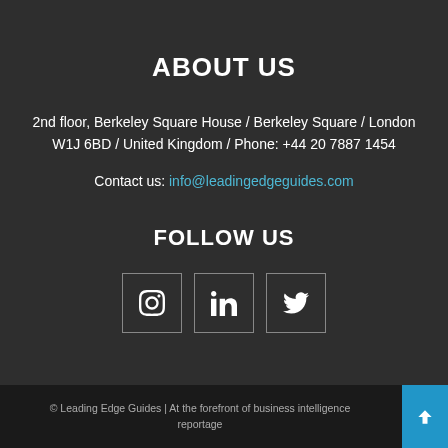ABOUT US
2nd floor, Berkeley Square House / Berkeley Square / London W1J 6BD / United Kingdom / Phone: +44 20 7887 1454
Contact us: info@leadingedgeguides.com
FOLLOW US
[Figure (other): Three social media icon boxes: Instagram, LinkedIn, Twitter]
© Leading Edge Guides | At the forefront of business intelligence reportage